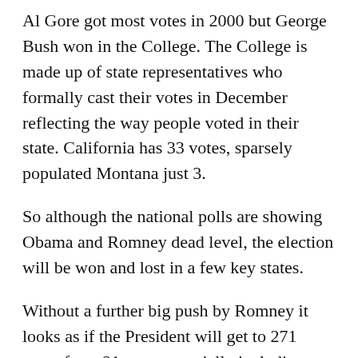Al Gore got most votes in 2000 but George Bush won in the College. The College is made up of state representatives who formally cast their votes in December reflecting the way people voted in their state. California has 33 votes, sparsely populated Montana just 3.
So although the national polls are showing Obama and Romney dead level, the election will be won and lost in a few key states.
Without a further big push by Romney it looks as if the President will get to 271 votes from 21 states, crucially including Ohio. Romney would win 206 votes from 23 states if he takes the key state of North Carolina. To win Romney would have to take three or four of the swing states of Colorado, Florida, Nevada, New Hampshire and Virginia. It's a big ask. It's going to be close. Let's hope it doesn't all hang on